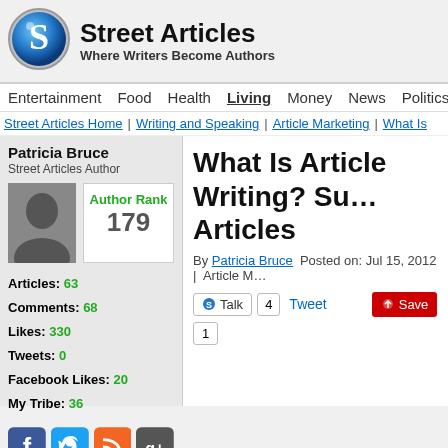Street Articles — Where Writers Become Authors
Entertainment | Food | Health | Living | Money | News | Politics | Spo...
Street Articles Home | Writing and Speaking | Article Marketing | What Is...
Patricia Bruce
Street Articles Author
Author Rank 179
Articles: 63
Comments: 68
Likes: 330
Tweets: 0
Facebook Likes: 20
My Tribe: 36
What Is Article Writing? Su... Articles
By Patricia Bruce  Posted on: Jul 15, 2012 |  Article M...
Talk 4  Tweet  Save  1